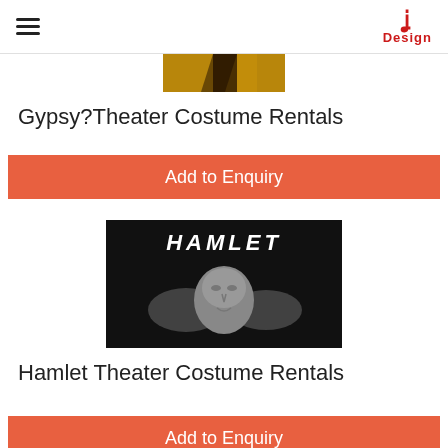Design
[Figure (photo): Partial cropped image at top of page, warm tones, appears to be part of a costume or character image]
Gypsy? Theater Costume Rentals
Add to Enquiry
[Figure (photo): Black and white image with text HAMLET at top, showing hands holding a classical sculptural face/mask]
Hamlet Theater Costume Rentals
Add to Enquiry